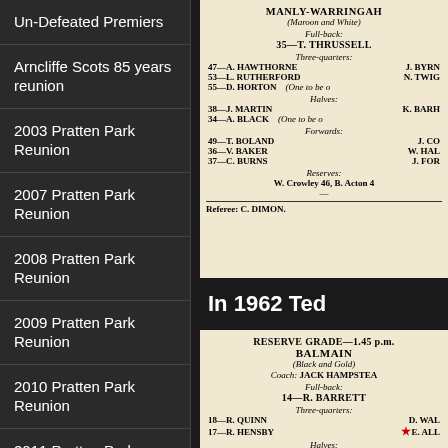Un-Defeated Premiers
Arncliffe Scots 85 years reunion
2003 Pratten Park Reunion
2007 Pratten Park Reunion
2008 Pratten Park Reunion
2009 Pratten Park Reunion
2010 Pratten Park Reunion
2011 Pratten Park Reunion
2012 Pratten Park Reunion
[Figure (photo): Scan of a rugby league match program showing Manly-Warringah team listing with players including T. Thrussell, A. Hawthorne, J. Byrne, L. Rutherford, N. Twig, D. Horton, J. Martin, K. Bar, A. Black, T. Boland, J. Co, V. Baker, W. Hal, C. Burns, J. For, W. Crowley 46, B. Acton. Referee: C. Dimon.]
In 1962 Ted
[Figure (photo): Scan of a rugby league match program showing Reserve Grade 1.45 p.m., Balmain (Black and Gold). Coach: Jack Hampstead. Full-back: 14-R. Barrett. Three-quarters: 18-R. Quinn, D. Wal, 17-R. Hensby, E. All. Halves: 19-B. Brailey, Frank McGa.]